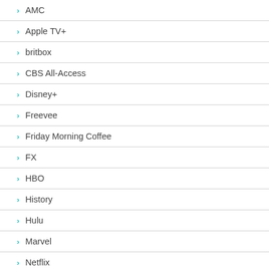AMC
Apple TV+
britbox
CBS All-Access
Disney+
Freevee
Friday Morning Coffee
FX
HBO
History
Hulu
Marvel
Netflix
Paramount